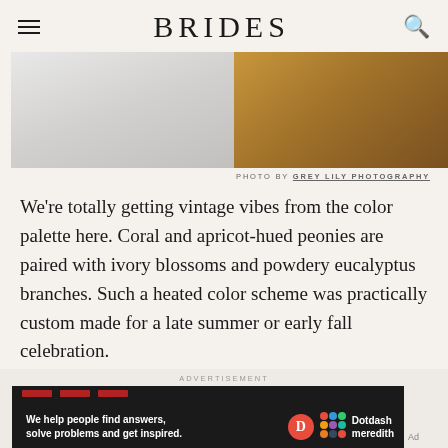BRIDES
[Figure (photo): Partial view of two fabric/textile swatches side by side — left side shows pale grey/white sheer fabric, right side shows warm brown textured material, likely leather or wood grain]
PHOTO BY GREY LILY PHOTOGRAPHY
We're totally getting vintage vibes from the color palette here. Coral and apricot-hued peonies are paired with ivory blossoms and powdery eucalyptus branches. Such a heated color scheme was practically custom made for a late summer or early fall celebration.
ADVERTISEMENT
[Figure (other): Dotdash Meredith advertisement banner — black background with red bars at top, text 'We help people find answers, solve problems and get inspired.' with Dotdash Meredith logo]